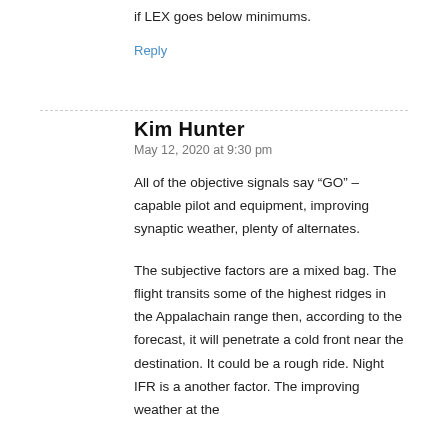if LEX goes below minimums.
Reply
Kim Hunter
May 12, 2020 at 9:30 pm
All of the objective signals say “GO” – capable pilot and equipment, improving synaptic weather, plenty of alternates.
The subjective factors are a mixed bag. The flight transits some of the highest ridges in the Appalachain range then, according to the forecast, it will penetrate a cold front near the destination. It could be a rough ride. Night IFR is a another factor. The improving weather at the